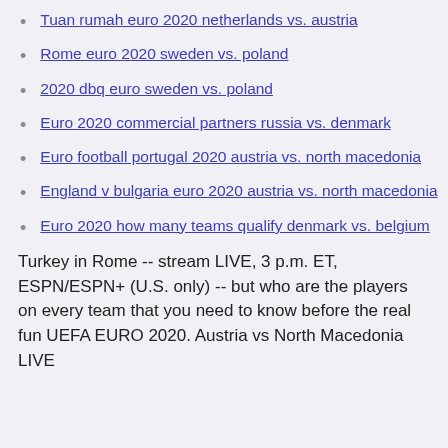Tuan rumah euro 2020 netherlands vs. austria
Rome euro 2020 sweden vs. poland
2020 dbq euro sweden vs. poland
Euro 2020 commercial partners russia vs. denmark
Euro football portugal 2020 austria vs. north macedonia
England v bulgaria euro 2020 austria vs. north macedonia
Euro 2020 how many teams qualify denmark vs. belgium
Turkey in Rome -- stream LIVE, 3 p.m. ET, ESPN/ESPN+ (U.S. only) -- but who are the players on every team that you need to know before the real fun UEFA EURO 2020. Austria vs North Macedonia LIVE